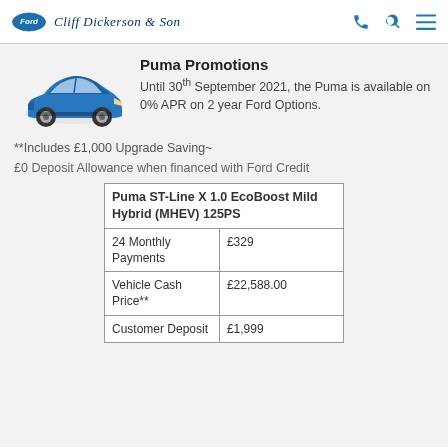Cliff Dickerson & Son
Puma Promotions
Until 30th September 2021, the Puma is available on 0% APR on 2 year Ford Options.
**Includes £1,000 Upgrade Saving~
£0 Deposit Allowance when financed with Ford Credit
| Puma ST-Line X 1.0 EcoBoost Mild Hybrid (MHEV) 125PS |  |
| --- | --- |
| 24 Monthly Payments | £329 |
| Vehicle Cash Price** | £22,588.00 |
| Customer Deposit | £1,999 |